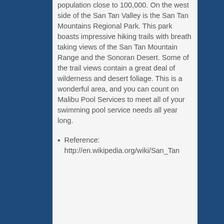population close to 100,000. On the west side of the San Tan Valley is the San Tan Mountains Regional Park. This park boasts impressive hiking trails with breath taking views of the San Tan Mountain Range and the Sonoran Desert. Some of the trail views contain a great deal of wilderness and desert foliage. This is a wonderful area, and you can count on Malibu Pool Services to meet all of your swimming pool service needs all year long.
Reference: http://en.wikipedia.org/wiki/San_Tan